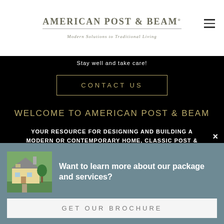AMERICAN POST & BEAM® — Modern Solutions to Traditional Living
Stay well and take care!
CONTACT US
WELCOME TO AMERICAN POST & BEAM
YOUR RESOURCE FOR DESIGNING AND BUILDING A MODERN OR CONTEMPORARY HOME, CLASSIC POST & BEAM BARN, STYLISH CARRIAGE HOUSE OR INNOVATIVE COMMERCIAL SPACE
Want to learn more about our package and services?
GET OUR BROCHURE